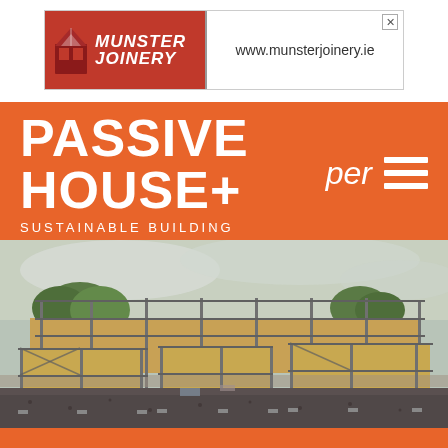[Figure (logo): Munster Joinery advertisement banner with red background logo on left and website URL www.munsterjoinery.ie on right]
PASSIVE HOUSE+ SUSTAINABLE BUILDING
[Figure (photo): Construction site photograph showing a building under construction with scaffolding, timber frame walls, and cloudy sky with trees in background]